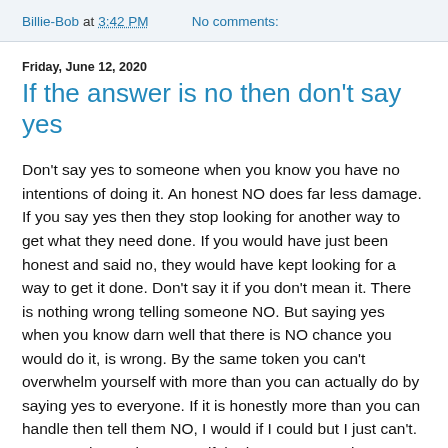Billie-Bob at 3:42 PM    No comments:
Friday, June 12, 2020
If the answer is no then don't say yes
Don't say yes to someone when you know you have no intentions of doing it. An honest NO does far less damage. If you say yes then they stop looking for another way to get what they need done. If you would have just been honest and said no, they would have kept looking for a way to get it done. Don't say it if you don't mean it. There is nothing wrong telling someone NO. But saying yes when you know darn well that there is NO chance you would do it, is wrong. By the same token you can't overwhelm yourself with more than you can actually do by saying yes to everyone. If it is honestly more than you can handle then tell them NO, I would if I could but I just can't. You can't honestly say yes if the honest answer is NO. They may not like the answer but regardless they will appreciate an honest answer. If you tell